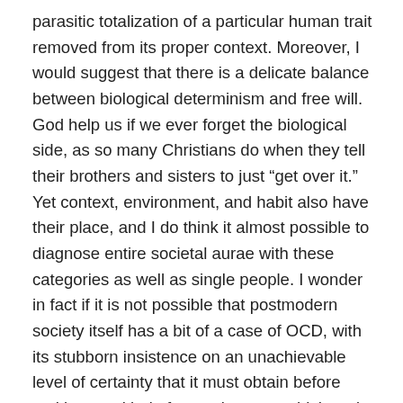parasitic totalization of a particular human trait removed from its proper context. Moreover, I would suggest that there is a delicate balance between biological determinism and free will. God help us if we ever forget the biological side, as so many Christians do when they tell their brothers and sisters to just “get over it.” Yet context, environment, and habit also have their place, and I do think it almost possible to diagnose entire societal aurae with these categories as well as single people. I wonder in fact if it is not possible that postmodern society itself has a bit of a case of OCD, with its stubborn insistence on an unachievable level of certainty that it must obtain before making any kind of commitment – which ends in apathy or anxious inaction.
If this is the case, it means that the desire for certainty so